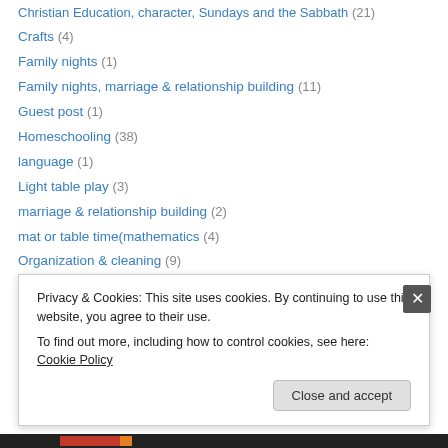Christian Education, character, Sundays and the Sabbath (21)
Crafts (4)
Family nights (1)
Family nights, marriage & relationship building (11)
Guest post (1)
Homeschooling (38)
language (1)
Light table play (3)
marriage & relationship building (2)
mat or table time(mathematics (4)
Organization & cleaning (9)
Outdoors (7)
practical life & others) (1)
Rainy day activities (9)
Privacy & Cookies: This site uses cookies. By continuing to use this website, you agree to their use. To find out more, including how to control cookies, see here: Cookie Policy
Close and accept